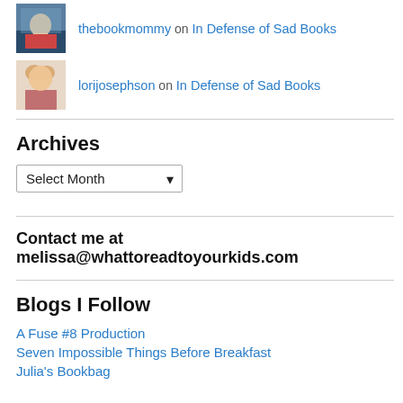thebookmommy on In Defense of Sad Books
lorijosephson on In Defense of Sad Books
Archives
Select Month
Contact me at melissa@whattoreadtoyourkids.com
Blogs I Follow
A Fuse #8 Production
Seven Impossible Things Before Breakfast
Julia's Bookbag